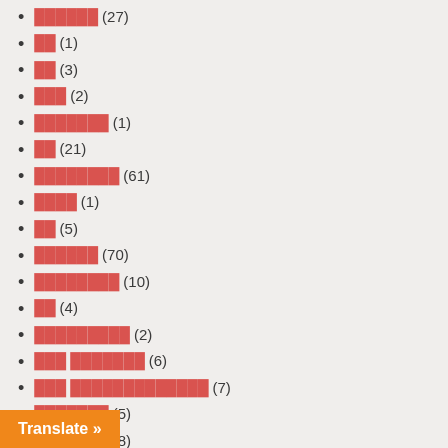██████ (27)
██ (1)
██ (3)
███ (2)
███████ (1)
██ (21)
████████ (61)
████ (1)
██ (5)
██████ (70)
████████ (10)
██ (4)
█████████ (2)
███ ███████ (6)
███ █████████████ (7)
███████ (5)
███████ (8)
██████████████ (1)
██ (4)